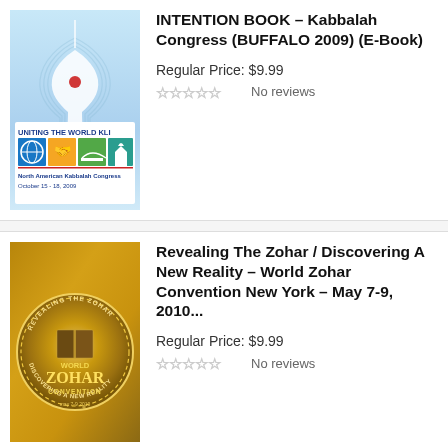[Figure (illustration): Book cover for Intention Book - Kabbalah Congress Buffalo 2009 E-Book. Light blue background with white angel figure and red heart, plus colorful logo 'Uniting the World KLI - North American Kabbalah Congress October 15-18, 2009']
INTENTION BOOK – Kabbalah Congress (BUFFALO 2009) (E-Book)
Regular Price: $9.99
No reviews
[Figure (illustration): Book cover for Revealing The Zohar / Discovering A New Reality - World Zohar Convention New York May 7-9 2010. Gold/amber background with circular World Zohar Convention medallion logo.]
Revealing The Zohar / Discovering A New Reality – World Zohar Convention New York – May 7-9, 2010...
Regular Price: $9.99
No reviews